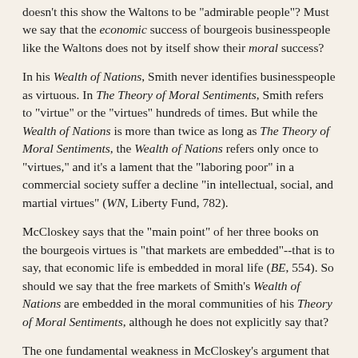doesn't this show the Waltons to be "admirable people"? Must we say that the economic success of bourgeois businesspeople like the Waltons does not by itself show their moral success?
In his Wealth of Nations, Smith never identifies businesspeople as virtuous. In The Theory of Moral Sentiments, Smith refers to "virtue" or the "virtues" hundreds of times. But while the Wealth of Nations is more than twice as long as The Theory of Moral Sentiments, the Wealth of Nations refers only once to "virtues," and it's a lament that the "laboring poor" in a commercial society suffer a decline "in intellectual, social, and martial virtues" (WN, Liberty Fund, 782).
McCloskey says that the "main point" of her three books on the bourgeois virtues is "that markets are embedded"--that is to say, that economic life is embedded in moral life (BE, 554). So should we say that the free markets of Smith's Wealth of Nations are embedded in the moral communities of his Theory of Moral Sentiments, although he does not explicitly say that?
The one fundamental weakness in McCloskey's argument that the Bourgeois Revaluation (beginning in the 18th century) led to a